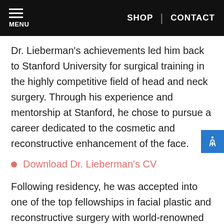MENU | SHOP | CONTACT
Dr. Lieberman's achievements led him back to Stanford University for surgical training in the highly competitive field of head and neck surgery. Through his experience and mentorship at Stanford, he chose to pursue a career dedicated to the cosmetic and reconstructive enhancement of the face.
Download Dr. Lieberman's CV
Following residency, he was accepted into one of the top fellowships in facial plastic and reconstructive surgery with world-renowned surgeon, Dr. Vito C. Quatela, a past president of the American Academy of Facial Plastic and Reconstructive Surgery. He received advanced training in the full breadth of facial plastic and reconstructive surgery.